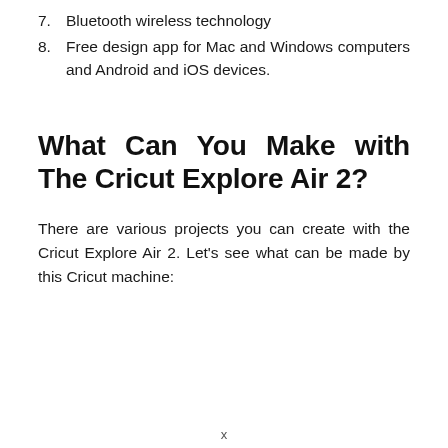7. Bluetooth wireless technology
8. Free design app for Mac and Windows computers and Android and iOS devices.
What Can You Make with The Cricut Explore Air 2?
There are various projects you can create with the Cricut Explore Air 2. Let's see what can be made by this Cricut machine: